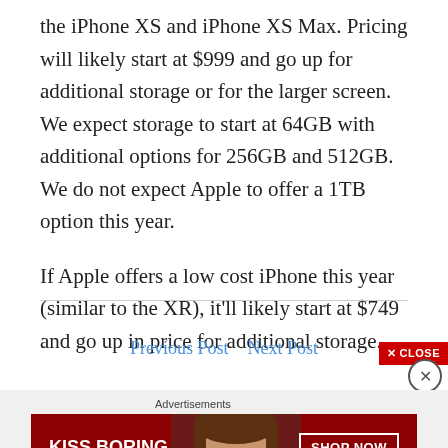the iPhone XS and iPhone XS Max. Pricing will likely start at $999 and go up for additional storage or for the larger screen. We expect storage to start at 64GB with additional options for 256GB and 512GB. We do not expect Apple to offer a 1TB option this year.
If Apple offers a low cost iPhone this year (similar to the XR), it'll likely start at $749 and go up in price for additional storage.
[Figure (screenshot): Advertisement banner: Macy's ad with text 'KISS BORING LIPS GOODBYE' and 'SHOP NOW' button with Macy's star logo, red background with woman's face]